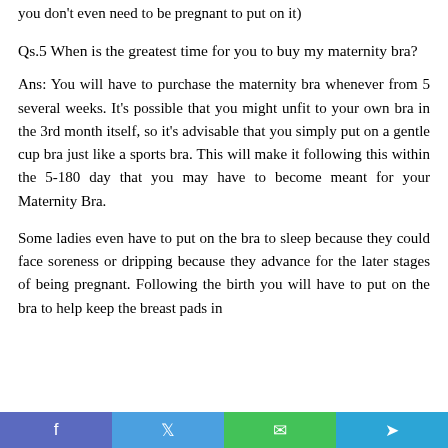you don't even need to be pregnant to put on it)
Qs.5 When is the greatest time for you to buy my maternity bra?
Ans: You will have to purchase the maternity bra whenever from 5 several weeks. It's possible that you might unfit to your own bra in the 3rd month itself, so it's advisable that you simply put on a gentle cup bra just like a sports bra. This will make it following this within the 5-180 day that you may have to become meant for your Maternity Bra.
Some ladies even have to put on the bra to sleep because they could face soreness or dripping because they advance for the later stages of being pregnant. Following the birth you will have to put on the bra to help keep the breast pads in
f  t  (whatsapp)  (telegram)